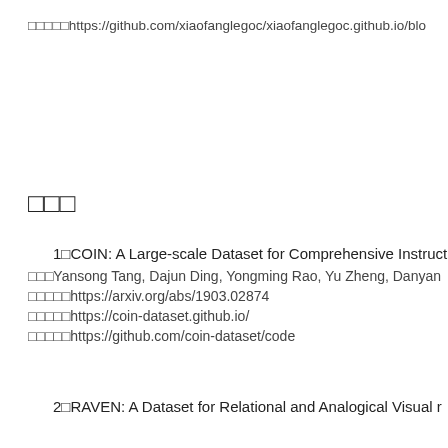□□□□□https://github.com/xiaofanglegoc/xiaofanglegoc.github.io/blo
□□□
1□COIN: A Large-scale Dataset for Comprehensive Instructi
□□□Yansong Tang, Dajun Ding, Yongming Rao, Yu Zheng, Danyan
□□□□□https://arxiv.org/abs/1903.02874
□□□□□https://coin-dataset.github.io/
□□□□□https://github.com/coin-dataset/code
2□RAVEN: A Dataset for Relational and Analogical Visual r